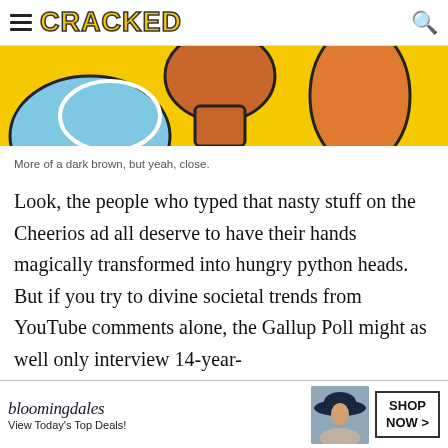CRACKED
[Figure (illustration): Colorful cartoon-style illustration showing abstract figures with yellow background, blue and orange/red shapes with bold black outlines, cropped at top of page.]
More of a dark brown, but yeah, close.
Look, the people who typed that nasty stuff on the Cheerios ad all deserve to have their hands magically transformed into hungry python heads. But if you try to divine societal trends from YouTube comments alone, the Gallup Poll might as well only interview 14-year-
[Figure (photo): Bloomingdale's advertisement banner: 'bloomingdales View Today's Top Deals!' with a woman wearing a wide-brim hat and a SHOP NOW > button.]